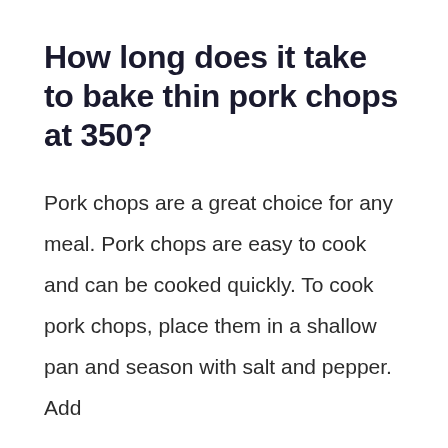How long does it take to bake thin pork chops at 350?
Pork chops are a great choice for any meal. Pork chops are easy to cook and can be cooked quickly. To cook pork chops, place them in a shallow pan and season with salt and pepper. Add